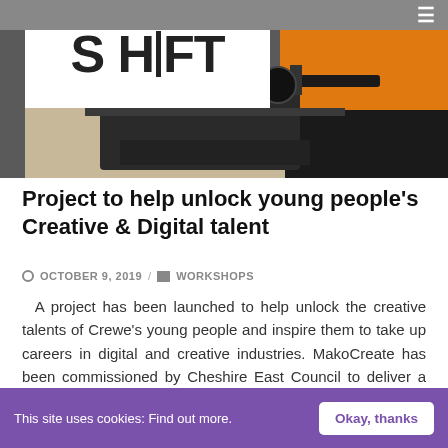[Figure (photo): Hero banner photo showing a person in an orange top with a drone/tech gadget in the foreground. SHIFT logo overlaid on white box in top-left.]
Project to help unlock young people's Creative & Digital talent
OCTOBER 9, 2019 / WORKSHOPS
A project has been launched to help unlock the creative talents of Crewe's young people and inspire them to take up careers in digital and creative industries. MakoCreate has been commissioned by Cheshire East Council to deliver a three-year project offering young people, who are facing challenging
This site uses cookies: Find out more.  Okay, thanks